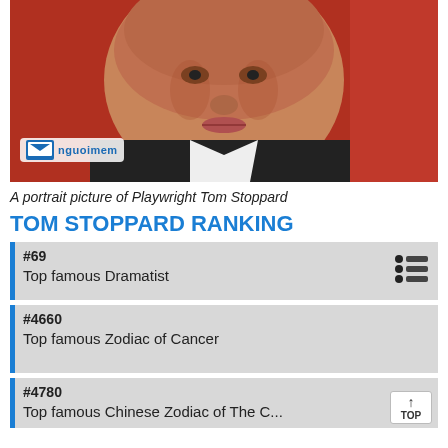[Figure (photo): Portrait photo of playwright Tom Stoppard, close-up face, wearing dark jacket, with a Vietnamese website watermark (nguoinem logo) in bottom-left corner]
A portrait picture of Playwright Tom Stoppard
TOM STOPPARD RANKING
#69
Top famous Dramatist
#4660
Top famous Zodiac of Cancer
#4780
Top famous Chinese Zodiac of The...